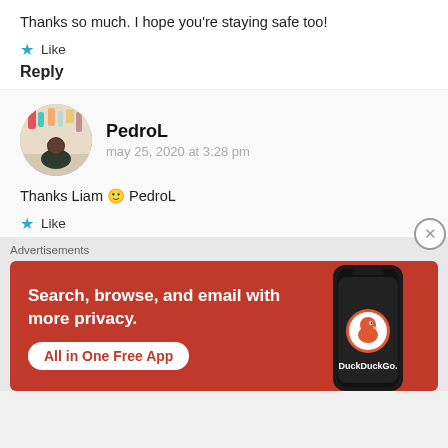Thanks so much. I hope you’re staying safe too!
★ Like
Reply
PedroL
may 25, 2020 at 3:28 pm
Thanks Liam 🙂 PedroL
★ Like
Advertisements
[Figure (infographic): DuckDuckGo advertisement banner with orange background. Text: 'Search, browse, and email with more privacy. All in One Free App'. Shows a phone with DuckDuckGo logo and brand name.]